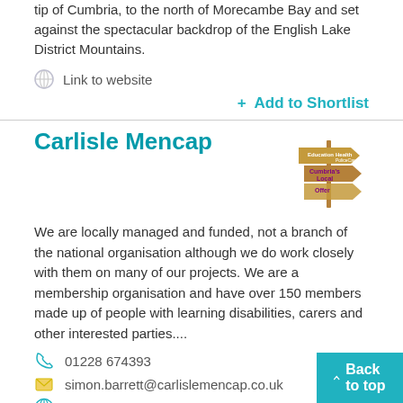tip of Cumbria, to the north of Morecambe Bay and set against the spectacular backdrop of the English Lake District Mountains.
Link to website
+ Add to Shortlist
Carlisle Mencap
We are locally managed and funded, not a branch of the national organisation although we do work closely with them on many of our projects. We are a membership organisation and have over 150 members made up of people with learning disabilities, carers and other interested parties....
01228 674393
simon.barrett@carlislemencap.co.uk
Mencap Website Link
+ Add to Shortlist
Carlisle Youth Zone